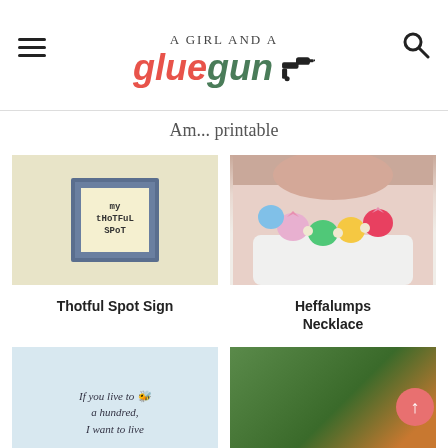A Girl and a Glue Gun
Am... printable
[Figure (photo): Thotful Spot Sign - a blue wood frame with a yellow card reading 'my tHoTFuL SPoT']
Thotful Spot Sign
[Figure (photo): Heffalumps Necklace - colorful elephant-shaped beads on a necklace worn by a person]
Heffalumps Necklace
[Figure (photo): If you live to a hundred, I want to live - printable quote on light blue background]
[Figure (photo): Food/cookie photo with green leaves and orange items]